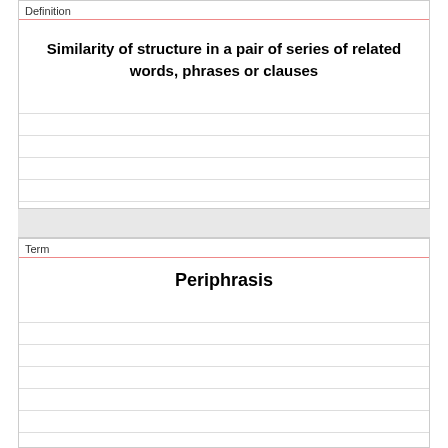Definition
Similarity of structure in a pair of series of related words, phrases or clauses
Term
Periphrasis